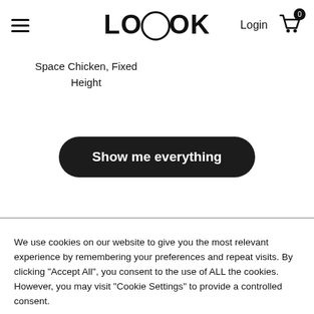LOoOK  Login  [cart: 0]
Space Chicken, Fixed Height
Show me everything
We use cookies on our website to give you the most relevant experience by remembering your preferences and repeat visits. By clicking "Accept All", you consent to the use of ALL the cookies. However, you may visit "Cookie Settings" to provide a controlled consent.
Cookie Settings  Accept All